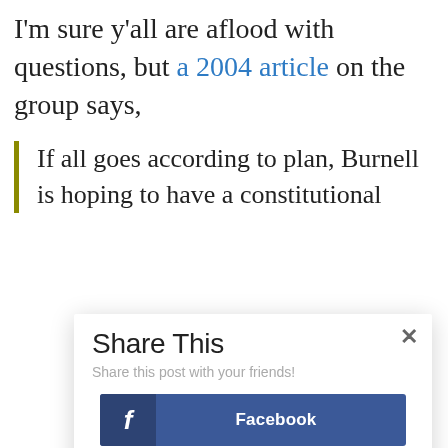I'm sure y'all are aflood with questions, but a 2004 article on the group says,
If all goes according to plan, Burnell is hoping to have a constitutional
Share This
Share this post with your friends!
Facebook
Twitter
Google+
LinkedIn